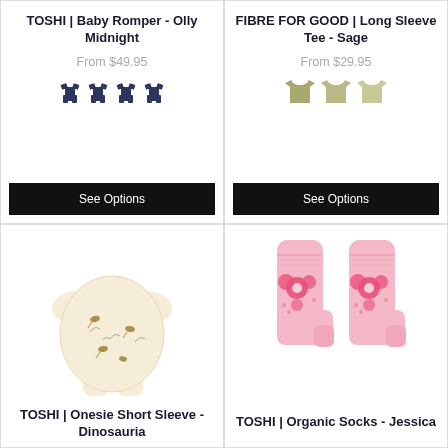TOSHI | Baby Romper - Olly Midnight
From $49.95
FIBRE FOR GOOD | Long Sleeve Tee - Sage
From $29.95
[Figure (photo): TOSHI baby romper product image - dinosaur print onesie short sleeve]
TOSHI | Onesie Short Sleeve - Dinosauria
[Figure (photo): TOSHI organic socks - pink with flower pattern, pair of baby socks]
TOSHI | Organic Socks - Jessica